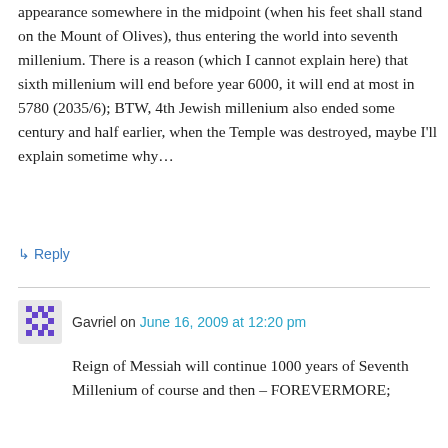appearance somewhere in the midpoint (when his feet shall stand on the Mount of Olives), thus entering the world into seventh millenium. There is a reason (which I cannot explain here) that sixth millenium will end before year 6000, it will end at most in 5780 (2035/6); BTW, 4th Jewish millenium also ended some century and half earlier, when the Temple was destroyed, maybe I'll explain sometime why…
↳ Reply
Gavriel on June 16, 2009 at 12:20 pm
Reign of Messiah will continue 1000 years of Seventh Millenium of course and then – FOREVERMORE;